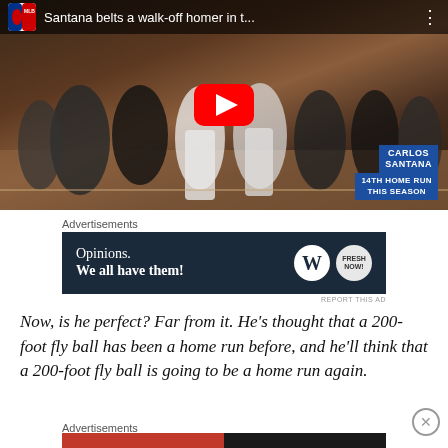[Figure (screenshot): YouTube video thumbnail showing MLB baseball players celebrating a walk-off home run by Carlos Santana. Video title: 'Santana belts a walk-off homer in t...' with MLB logo and three-dot menu. A red YouTube play button is centered. Bottom right shows blue overlay labels: 'CARLOS SANTANA' and '14TH HOME RUN THIS SEASON'.]
Advertisements
[Figure (screenshot): Advertisement banner with dark navy background. Text reads 'Opinions. We all have them!' with WordPress logo circle and another circular logo on the right.]
REPORT THIS AD
Now, is he perfect? Far from it. He's thought that a 200-foot fly ball has been a home run before, and he'll think that a 200-foot fly ball is going to be a home run again.
Advertisements